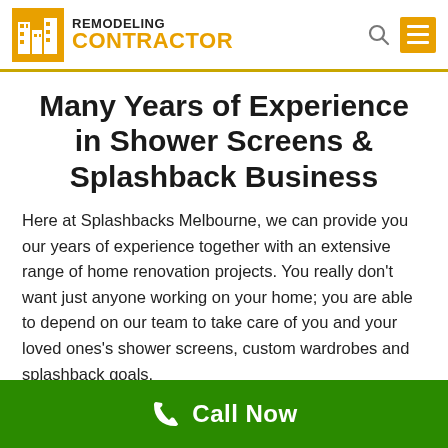[Figure (logo): Remodeling Contractor logo with orange building icon and text 'REMODELING CONTRACTOR']
Many Years of Experience in Shower Screens & Splashback Business
Here at Splashbacks Melbourne, we can provide you our years of experience together with an extensive range of home renovation projects. You really don't want just anyone working on your home; you are able to depend on our team to take care of you and your loved ones's shower screens, custom wardrobes and splashback goals.
Call Now